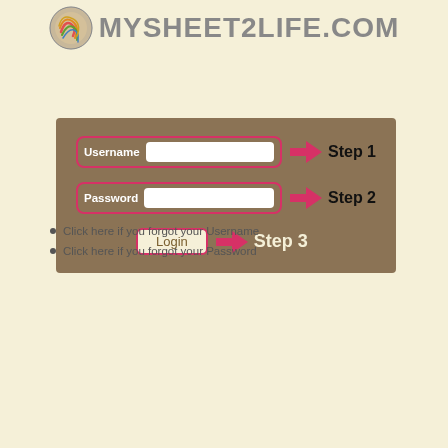[Figure (screenshot): MYSHEET2LIFE.COM website logo with circular swirling graphic and site name in large gray text]
[Figure (screenshot): Login form screenshot with Username field (Step 1), Password field (Step 2), and Login button (Step 3), each annotated with a pink arrow pointing left and a step label. The form is on a brown background panel.]
Click here if you forgot your Username
Click here if you forgot your Password